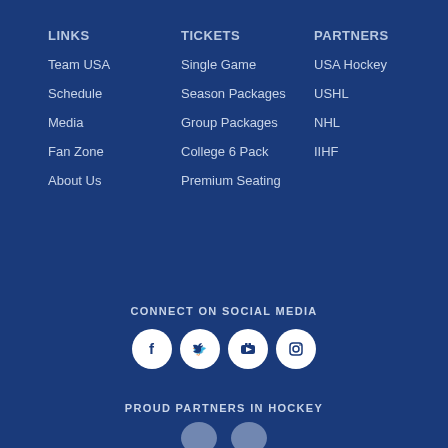LINKS
Team USA
Schedule
Media
Fan Zone
About Us
TICKETS
Single Game
Season Packages
Group Packages
College 6 Pack
Premium Seating
PARTNERS
USA Hockey
USHL
NHL
IIHF
CONNECT ON SOCIAL MEDIA
[Figure (infographic): Social media icons: Facebook, Twitter, YouTube, Instagram]
PROUD PARTNERS IN HOCKEY
[Figure (infographic): Partner logos at bottom]